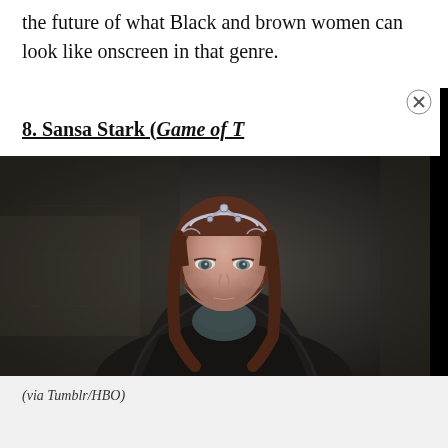the future of what Black and brown women can look like onscreen in that genre.
8. Sansa Stark (Game of T[hrones])
[Figure (screenshot): Screenshot from Game of Thrones showing Sansa Stark wearing a dark fur cloak and a silver crown/headpiece, with a serious expression, in a dimly lit stone setting. A black overlay panel partially covers the upper right of the image.]
(via Tumblr/HBO)